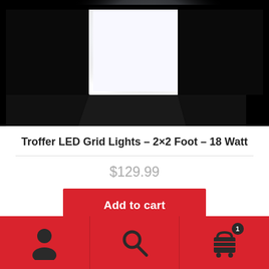[Figure (photo): A bright white LED panel light glowing against a dark background, casting light downward onto a dark surface.]
Troffer LED Grid Lights – 2×2 Foot – 18 Watt
$129.99
Add to cart